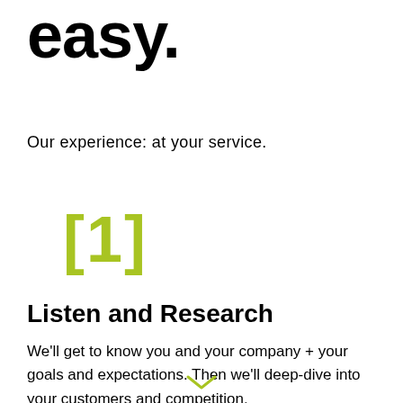easy.
Our experience: at your service.
[1]
Listen and Research
We'll get to know you and your company + your goals and expectations. Then we'll deep-dive into your customers and competition.